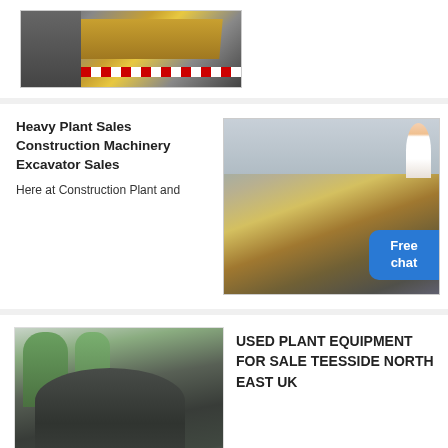[Figure (photo): Construction site with crane and machinery, red and white striped safety barriers visible]
Heavy Plant Sales Construction Machinery Excavator Sales
Here at Construction Plant and
[Figure (photo): Large yellow mobile crusher/screening machine on tracks in a quarry with pile of gravel/stones in background, with a Free chat button overlay and a person figure]
[Figure (photo): Black industrial sand/aggregate washing wheel machine outdoors with trees and building in background, UK flag on ground]
USED PLANT EQUIPMENT FOR SALE TEESSIDE NORTH EAST UK